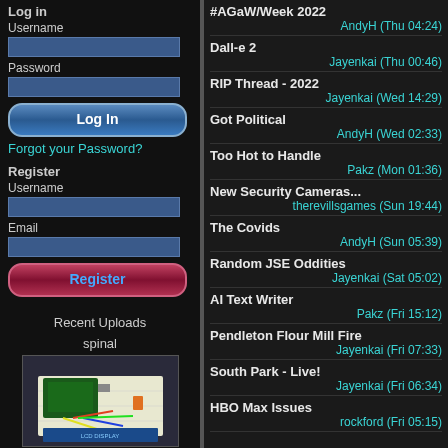Log in
Username
Password
Log In
Forgot your Password?
Register
Username
Email
Register
Recent Uploads
spinal
[Figure (photo): Electronic breadboard with Arduino/microcontroller and wires]
#AGaW/Week 2022
AndyH (Thu 04:24)
Dall-e 2
Jayenkai (Thu 00:46)
RIP Thread - 2022
Jayenkai (Wed 14:29)
Got Political
AndyH (Wed 02:33)
Too Hot to Handle
Pakz (Mon 01:36)
New Security Cameras...
therevillsgames (Sun 19:44)
The Covids
AndyH (Sun 05:39)
Random JSE Oddities
Jayenkai (Sat 05:02)
AI Text Writer
Pakz (Fri 15:12)
Pendleton Flour Mill Fire
Jayenkai (Fri 07:33)
South Park - Live!
Jayenkai (Fri 06:34)
HBO Max Issues
rockford (Fri 05:15)